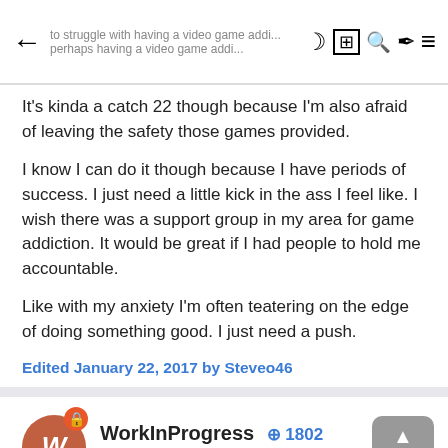← [navigation icons]
It's kinda a catch 22 though because I'm also afraid of leaving the safety those games provided.
I know I can do it though because I have periods of success. I just need a little kick in the ass I feel like. I wish there was a support group in my area for game addiction. It would be great if I had people to hold me accountable.
Like with my anxiety I'm often teatering on the edge of doing something good. I just need a push.
Edited January 22, 2017 by Steveo46
WorkInProgress  ⊕ 1802
Posted January 22, 2017
You answered the first question. Now you need to find a real activity. something you are sure you can do even if you feel